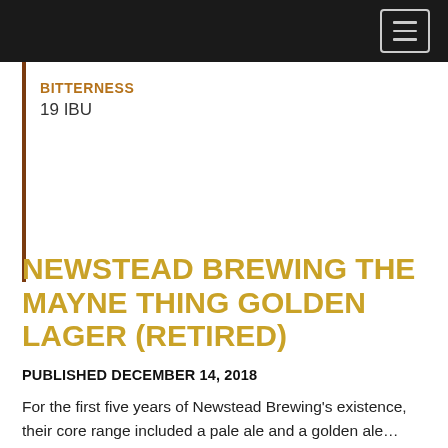BITTERNESS
19 IBU
NEWSTEAD BREWING THE MAYNE THING GOLDEN LAGER (RETIRED)
PUBLISHED DECEMBER 14, 2018
For the first five years of Newstead Brewing's existence, their core range included a pale ale and a golden ale… which is really just a kind of pale ale. There was no lager in the lineup, yet many people were constantly asking for a lager. They introduced their seasonal lagers to address this, but still the people cried